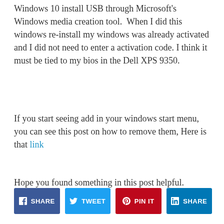Windows 10 install USB through Microsoft's Windows media creation tool.  When I did this windows re-install my windows was already activated and I did not need to enter a activation code. I think it must be tied to my bios in the Dell XPS 9350.
If you start seeing add in your windows start menu, you can see this post on how to remove them, Here is that link
Hope you found something in this post helpful.
[Figure (other): Social share buttons: Facebook SHARE, Twitter TWEET, Pinterest PIN IT, LinkedIn SHARE]